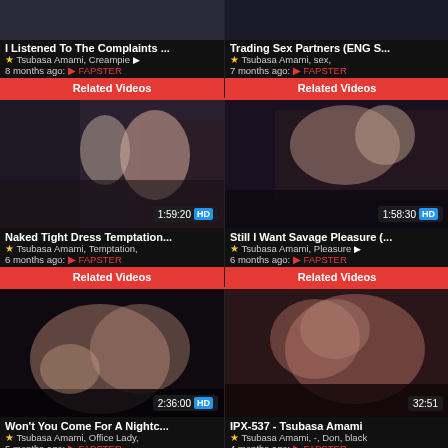[Figure (screenshot): Video thumbnail grid showing adult video listings with thumbnails, titles, metadata, and related video buttons]
I Listened To The Complaints ...
Trading Sex Partners (ENG S...
Tsubasa Amami, Creampie
8 months ago: FAPSTER
Tsubasa Amami, sex,
7 months ago: FAPSTER
Related Videos
Related Videos
1:59:20 HD
1:58:30 HD
Naked Tight Dress Temptation...
Still I Want Savage Pleasure (...
Tsubasa Amami, Temptation,
6 months ago: FAPSTER
Tsubasa Amami, Pleasure
6 months ago: FAPSTER
Related Videos
Related Videos
2:36:00 HD
32:51
Won't You Come For A Nightc...
IPX-537 - Tsubasa Amami
Tsubasa Amami, Office Lady,
5 months ago: FAPSTER
Tsubasa Amami, -, Don, black
4 months ago: FAPSTER
Related Videos
Related Videos